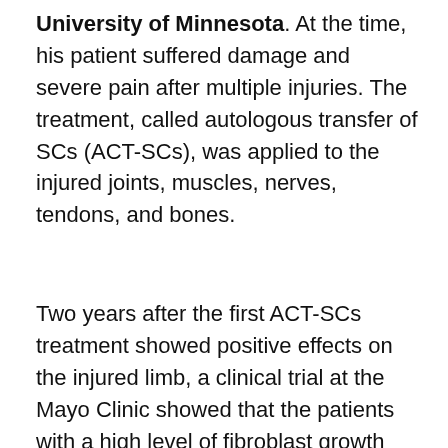University of Minnesota. At the time, his patient suffered damage and severe pain after multiple injuries. The treatment, called autologous transfer of SCs (ACT-SCs), was applied to the injured joints, muscles, nerves, tendons, and bones.
Two years after the first ACT-SCs treatment showed positive effects on the injured limb, a clinical trial at the Mayo Clinic showed that the patients with a high level of fibroblast growth factor-2 (FGF-2) in the blood regained motion of their legs. This suggests that the FGF-2/FGFR pathway, a pathway known to activate SCs in the